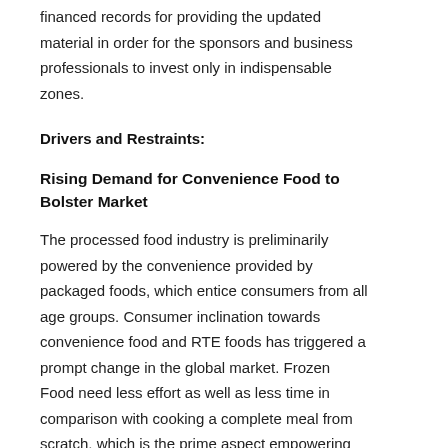financed records for providing the updated material in order for the sponsors and business professionals to invest only in indispensable zones.
Drivers and Restraints:
Rising Demand for Convenience Food to Bolster Market
The processed food industry is preliminarily powered by the convenience provided by packaged foods, which entice consumers from all age groups. Consumer inclination towards convenience food and RTE foods has triggered a prompt change in the global market. Frozen Food need less effort as well as less time in comparison with cooking a complete meal from scratch, which is the prime aspect empowering the Frozen Food market growth.
Regional Insights: